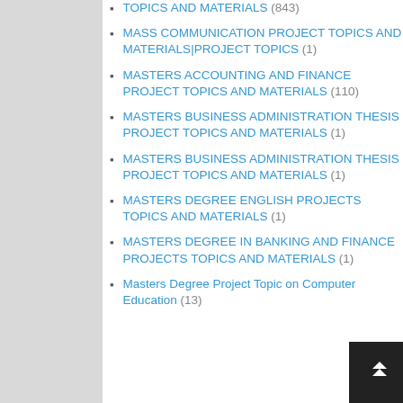TOPICS AND MATERIALS (843)
MASS COMMUNICATION PROJECT TOPICS AND MATERIALS|PROJECT TOPICS (1)
MASTERS ACCOUNTING AND FINANCE PROJECT TOPICS AND MATERIALS (110)
MASTERS BUSINESS ADMINISTRATION THESIS PROJECT TOPICS AND MATERIALS (1)
MASTERS BUSINESS ADMINISTRATION THESIS PROJECT TOPICS AND MATERIALS (1)
MASTERS DEGREE ENGLISH PROJECTS TOPICS AND MATERIALS (1)
MASTERS DEGREE IN BANKING AND FINANCE PROJECTS TOPICS AND MATERIALS (1)
Masters Degree Project Topic on Computer Education (13)